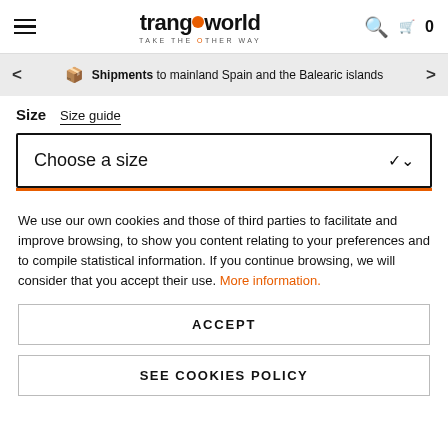trangoworld TAKE THE OTHER WAY — navigation header with search and cart
Shipments to mainland Spain and the Balearic islands
Size  Size guide
Choose a size
We use our own cookies and those of third parties to facilitate and improve browsing, to show you content relating to your preferences and to compile statistical information. If you continue browsing, we will consider that you accept their use. More information.
ACCEPT
SEE COOKIES POLICY